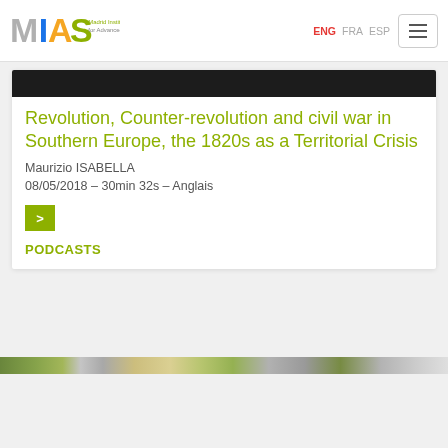MIAS Madrid Institute for Advanced Study | ENG FRA ESP
[Figure (screenshot): Dark/black banner image strip at top of card]
Revolution, Counter-revolution and civil war in Southern Europe, the 1820s as a Territorial Crisis
Maurizio ISABELLA
08/05/2018 – 30min 32s – Anglais
[Figure (other): Green play button (>)]
PODCASTS
[Figure (photo): Partial outdoor/nature image strip at bottom of page]